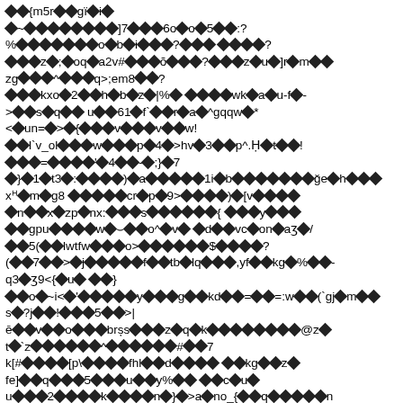Corrupted/encoded text content with diamond replacement characters mixed with ASCII symbols and alphanumeric characters across multiple lines